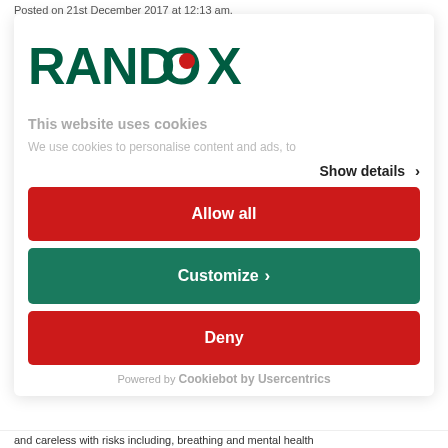Posted on 21st December 2017 at 12:13 am.
[Figure (logo): Randox logo — dark green bold text RANDOX with a red circular dot replacing the letter O]
This website uses cookies
We use cookies to personalise content and ads, to
Show details >
Allow all
Customize >
Deny
Powered by Cookiebot by Usercentrics
and careless with risks including, breathing and mental health